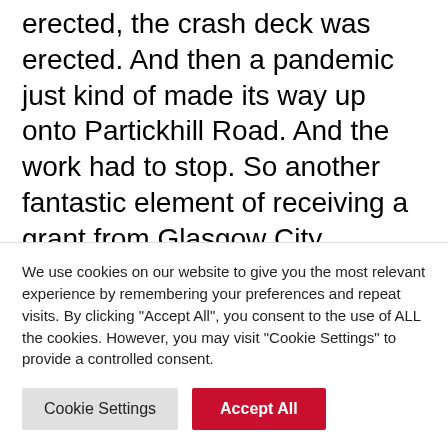erected, the crash deck was erected. And then a pandemic just kind of made its way up onto Partickhill Road. And the work had to stop. So another fantastic element of receiving a grant from Glasgow City Heritage Trust was that that grant went in part to pay for the ongoing scaffolding hire when a contractor couldn't actually do any work on site, because of course, all the building sites were locked down. So ultimately, the balcony was rebuilt. The
We use cookies on our website to give you the most relevant experience by remembering your preferences and repeat visits. By clicking "Accept All", you consent to the use of ALL the cookies. However, you may visit "Cookie Settings" to provide a controlled consent.
Cookie Settings
Accept All